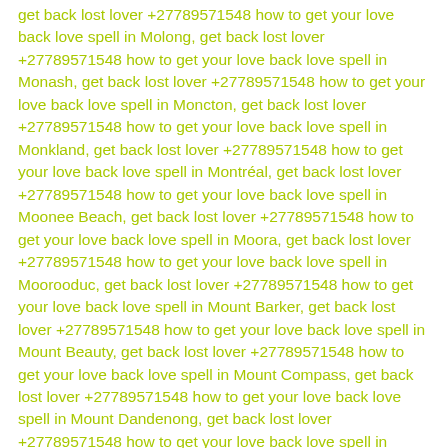get back lost lover +27789571548 how to get your love back love spell in Molong, get back lost lover +27789571548 how to get your love back love spell in Monash, get back lost lover +27789571548 how to get your love back love spell in Moncton, get back lost lover +27789571548 how to get your love back love spell in Monkland, get back lost lover +27789571548 how to get your love back love spell in Montréal, get back lost lover +27789571548 how to get your love back love spell in Moonee Beach, get back lost lover +27789571548 how to get your love back love spell in Moora, get back lost lover +27789571548 how to get your love back love spell in Moorooduc, get back lost lover +27789571548 how to get your love back love spell in Mount Barker, get back lost lover +27789571548 how to get your love back love spell in Mount Beauty, get back lost lover +27789571548 how to get your love back love spell in Mount Compass, get back lost lover +27789571548 how to get your love back love spell in Mount Dandenong, get back lost lover +27789571548 how to get your love back love spell in Mount Keira, get back lost lover +27789571548 how to get your love back love spell in Mount Nathan, get back lost lover +27789571548 how to get your love back love spell in Mount Ousley, get back lost lover +27789571548 how to get your love back love spell in Mount Pleasant, get back lost lover +27789571548 how to get your love back love spell in Mount Saint Thomas, get back lost lover +27789571548 how to get your love back love spell in Mulwala, get back lost lover +27789571548 how to get your love back love spell in Mundijong, get back lost lover +27789571548 how to get your love back